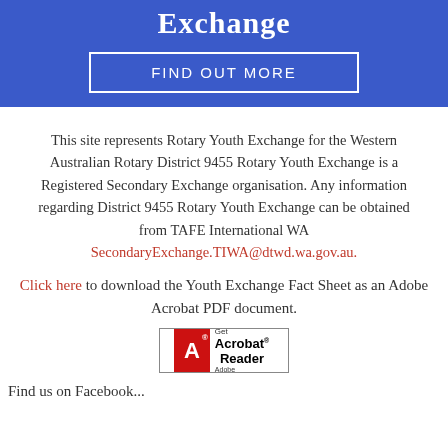Exchange
FIND OUT MORE
This site represents Rotary Youth Exchange for the Western Australian Rotary District 9455 Rotary Youth Exchange is a Registered Secondary Exchange organisation. Any information regarding District 9455 Rotary Youth Exchange can be obtained from TAFE International WA SecondaryExchange.TIWA@dtwd.wa.gov.au.
Click here to download the Youth Exchange Fact Sheet as an Adobe Acrobat PDF document.
[Figure (logo): Adobe Acrobat Reader badge/logo button]
Find us on Facebook...